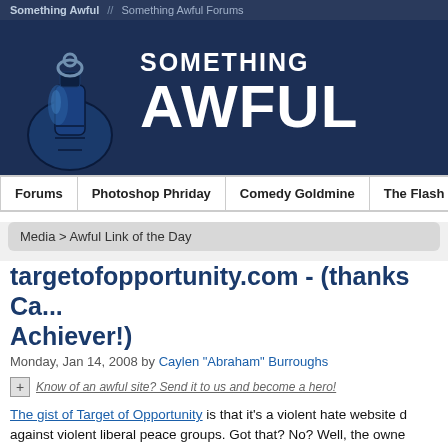Something Awful // Something Awful Forums
[Figure (logo): Something Awful logo with grenade illustration and bold text 'SOMETHING AWFUL' on dark blue background]
Forums | Photoshop Phriday | Comedy Goldmine | The Flash Tub | WTF, D...
Media > Awful Link of the Day
targetofopportunity.com - (thanks Ca... Achiever!)
Monday, Jan 14, 2008 by Caylen "Abraham" Burroughs
Know of an awful site? Send it to us and become a hero!
The gist of Target of Opportunity is that it's a violent hate website d... against violent liberal peace groups. Got that? No? Well, the owne... performing patriotic fatwhas against anyone with a history of que...